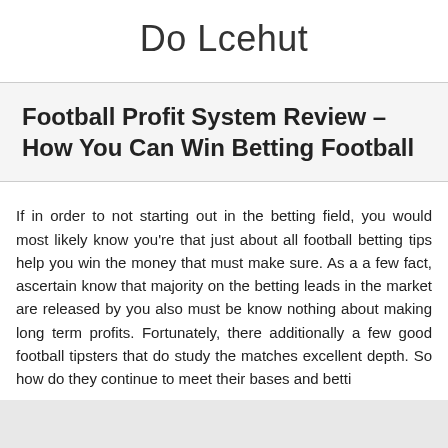Do Lcehut
Football Profit System Review – How You Can Win Betting Football
If in order to not starting out in the betting field, you would most likely know you're that just about all football betting tips help you win the money that must make sure. As a a few fact, ascertain know that majority on the betting leads in the market are released by you also must be know nothing about making long term profits. Fortunately, there additionally a few good football tipsters that do study the matches excellent depth. So how do they continue to meet their bases and betti